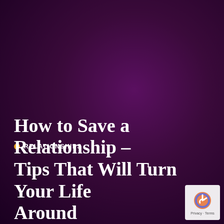[Figure (photo): Dark purple background image filling the upper portion of the page]
RELATIONSHIPS
How to Save a Relationship – Tips That Will Turn Your Life Around